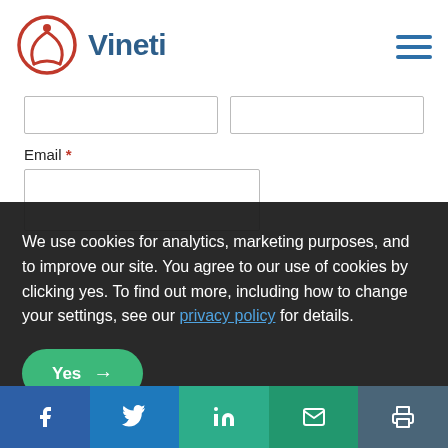Vineti
[Figure (screenshot): Partial web form showing two half-width input fields and an Email label with asterisk, and a larger email text input box below]
We use cookies for analytics, marketing purposes, and to improve our site. You agree to our use of cookies by clicking yes. To find out more, including how to change your settings, see our privacy policy for details.
Yes →
Facebook | Twitter | LinkedIn | Email | Print